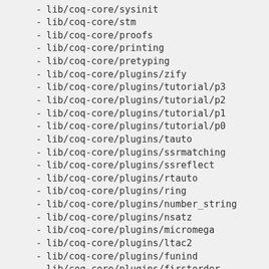- lib/coq-core/sysinit
- lib/coq-core/stm
- lib/coq-core/proofs
- lib/coq-core/printing
- lib/coq-core/pretyping
- lib/coq-core/plugins/zify
- lib/coq-core/plugins/tutorial/p3
- lib/coq-core/plugins/tutorial/p2
- lib/coq-core/plugins/tutorial/p1
- lib/coq-core/plugins/tutorial/p0
- lib/coq-core/plugins/tauto
- lib/coq-core/plugins/ssrmatching
- lib/coq-core/plugins/ssreflect
- lib/coq-core/plugins/rtauto
- lib/coq-core/plugins/ring
- lib/coq-core/plugins/number_string
- lib/coq-core/plugins/nsatz
- lib/coq-core/plugins/micromega
- lib/coq-core/plugins/ltac2
- lib/coq-core/plugins/funind
- lib/coq-core/plugins/firstorder